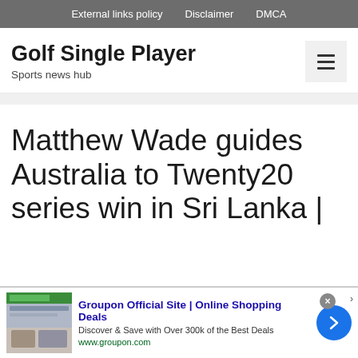External links policy   Disclaimer   DMCA
Golf Single Player
Sports news hub
Matthew Wade guides Australia to Twenty20 series win in Sri Lanka |
[Figure (screenshot): Advertisement banner for Groupon Official Site showing shopping deals with image placeholder, text 'Groupon Official Site | Online Shopping Deals', 'Discover & Save with Over 300k of the Best Deals', 'www.groupon.com', close button X, and blue arrow button]